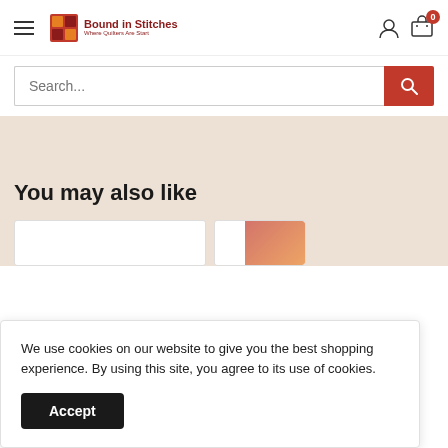Bound in Stitches — Where Quilters Are Start
[Figure (screenshot): Search bar with red search button]
[Figure (screenshot): Beige navigation band]
You may also like
[Figure (screenshot): Product cards row partially visible]
We use cookies on our website to give you the best shopping experience. By using this site, you agree to its use of cookies.
Accept